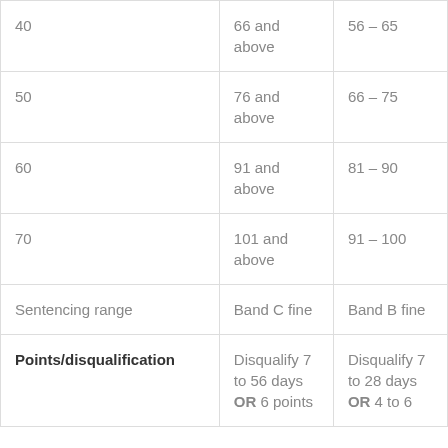| 40 | 66 and above | 56 – 65 |
| 50 | 76 and above | 66 – 75 |
| 60 | 91 and above | 81 – 90 |
| 70 | 101 and above | 91 – 100 |
| Sentencing range | Band C fine | Band B fine |
| Points/disqualification | Disqualify 7 to 56 days OR 6 points | Disqualify 7 to 28 days OR 4 to 6 |